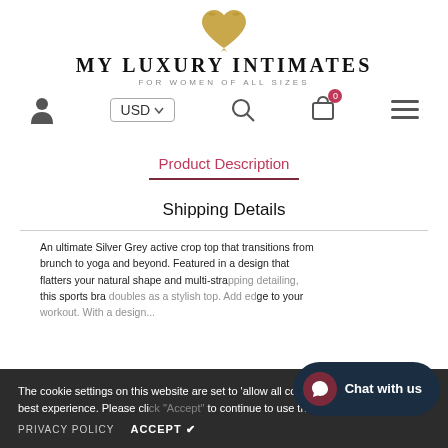[Figure (logo): My Luxury Intimates logo — gold heart shape above brand name]
MY LUXURY INTIMATES — FOR WOMEN OF ALL SIZES — USD currency selector, search, cart (0), menu
Product Description
Shipping Details
An ultimate Silver Grey active crop top that transitions from brunch to yoga and beyond. Featured in a design that flatters your natural shape and multi-strap detailing, this sports bra doubles as a stylish top. Add edge to your workout. With a design...
The cookie settings on this website are set to 'allow all cookies' to give you the very best experience. Please click "Accept" to continue to use the site.